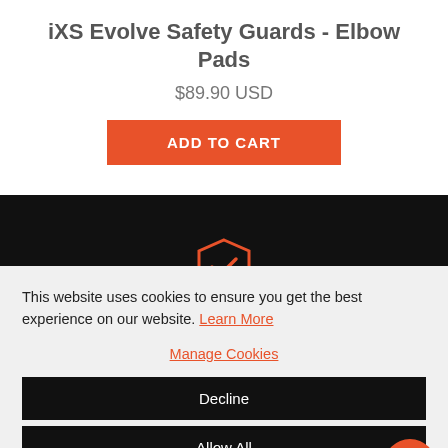iXS Evolve Safety Guards - Elbow Pads
$89.90 USD
ADD TO CART
[Figure (other): Orange shield with checkmark icon on dark background]
This website uses cookies to ensure you get the best experience on our website. Learn More
Manage Cookies
Decline
Allow All
×